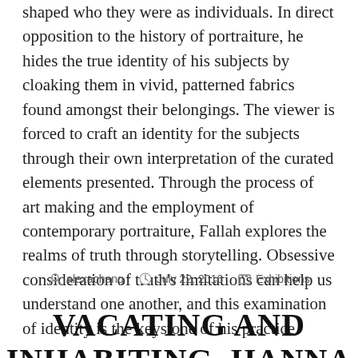shaped who they were as individuals. In direct opposition to the history of portraiture, he hides the true identity of his subjects by cloaking them in vivid, patterned fabrics found amongst their belongings. The viewer is forced to craft an identity for the subjects through their own interpretation of the curated elements presented. Through the process of art making and the employment of contemporary portraiture, Fallah explores the realms of truth through storytelling. Obsessive consideration of truth's limitations can help us understand one another, and this examination of identity is the keystone of his practice.
By alexachang  July 22, 2016  Exhibitions
VACATING AND INHABITING, HANNA